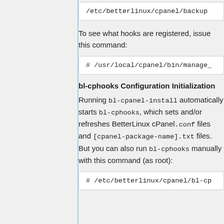[Figure (screenshot): Code box showing partial path: /etc/betterlinux/cpanel/backup]
To see what hooks are registered, issue this command:
[Figure (screenshot): Code box showing: # /usr/local/cpanel/bin/manage_]
bl-cphooks Configuration Initialization
Running bl-cpanel-install automatically starts bl-cphooks, which sets and/or refreshes BetterLinux cPanel .conf files and [cpanel-package-name].txt files. But you can also run bl-cphooks manually with this command (as root):
[Figure (screenshot): Code box showing: # /etc/betterlinux/cpanel/bl-cp]